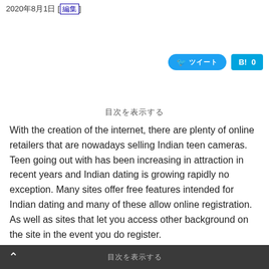2020年8月1日 [編集]
[Figure (other): Twitter share button and Hatena bookmark button with count 0]
目次を表示する
With the creation of the internet, there are plenty of online retailers that are nowadays selling Indian teen cameras. Teen going out with has been increasing in attraction in recent years and Indian dating is growing rapidly no exception. Many sites offer free features intended for Indian dating and many of these allow online registration. As well as sites that let you access other background on the site in the event you do register.
If you are looking to start an affair with a teenager from India, these kinds of Indian dating sites are definitely well worth registering intended for. There are many different
目次を表示する